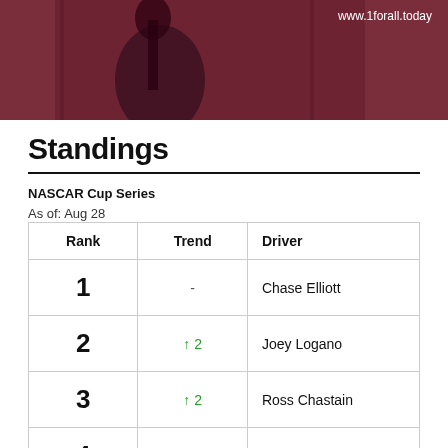[Figure (photo): Photo banner with a musician figure and guitar on a dark reddish background. URL 'www.1forall.today' displayed in white text at top right.]
Standings
NASCAR Cup Series
As of: Aug 28
| Rank | Trend | Driver |
| --- | --- | --- |
| 1 | - | Chase Elliott |
| 2 | ↑ 2 | Joey Logano |
| 3 | ↑ 2 | Ross Chastain |
| 4 | ↓ 2 | Kyle Larson |